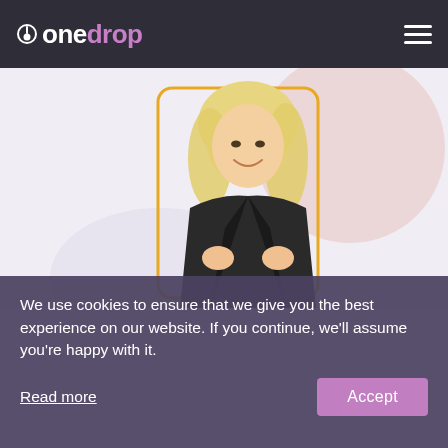onedrop
[Figure (photo): A smiling blonde woman in a black leather jacket holding the lapels, standing in front of a golden rectangular frame outline and a pink circle shape on a light background.]
We use cookies to ensure that we give you the best experience on our website. If you continue, we'll assume you're happy with it.
Read more
Accept